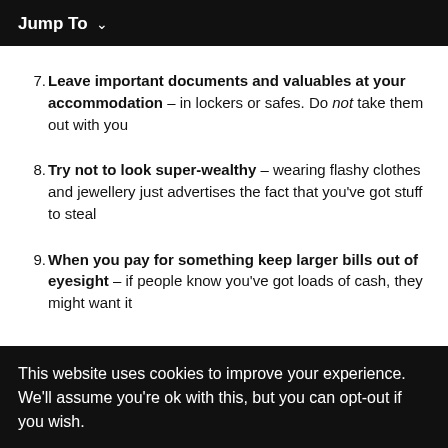Jump To ∨
7. Leave important documents and valuables at your accommodation – in lockers or safes. Do not take them out with you
8. Try not to look super-wealthy – wearing flashy clothes and jewellery just advertises the fact that you've got stuff to steal
9. When you pay for something keep larger bills out of eyesight – if people know you've got loads of cash, they might want it
This website uses cookies to improve your experience. We'll assume you're ok with this, but you can opt-out if you wish.